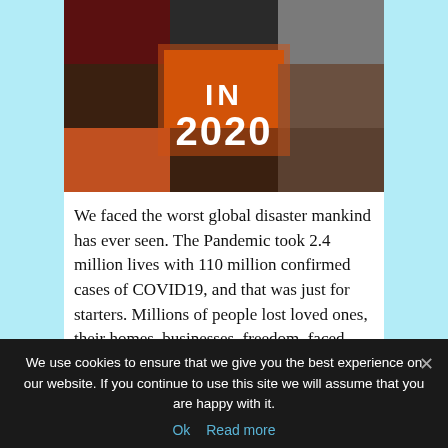[Figure (photo): Photo collage showing various disaster scenes with large white text 'IN 2020' overlaid on a fiery orange background in the center]
We faced the worst global disaster mankind has ever seen. The Pandemic took 2.4 million lives with 110 million confirmed cases of COVID19, and that was just for starters. Millions of people lost loved ones, their homes, businesses, freedom, faced school closings—all of this putting their mental health at risk.
We use cookies to ensure that we give you the best experience on our website. If you continue to use this site we will assume that you are happy with it.